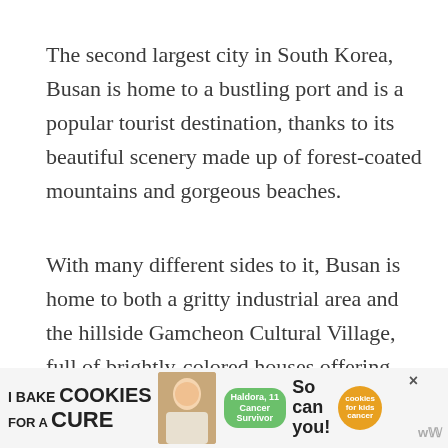The second largest city in South Korea, Busan is home to a bustling port and is a popular tourist destination, thanks to its beautiful scenery made up of forest-coated mountains and gorgeous beaches.
With many different sides to it, Busan is home to both a gritty industrial area and the hillside Gamcheon Cultural Village, full of brightly-colored houses offering delightful views over the city.
While most people come for its beaches, Busan has many interesting historical sites scattered around town: there's the popular Beomeosa Temple with its nu... and numerous... other... ts, and...
[Figure (other): Advertisement banner: 'I Bake COOKIES For A CURE - Haldora, 11 Cancer Survivor. So can you! cookies for kids cancer.' with a close button (×) and broadcaster logo (w).]